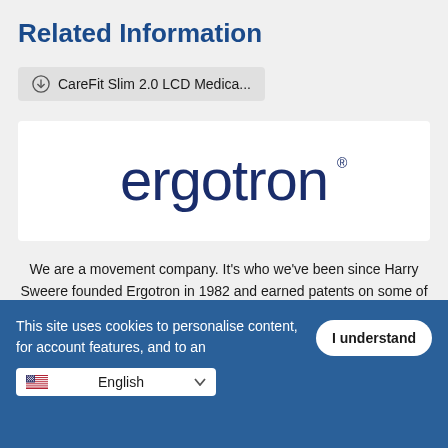Related Information
CareFit Slim 2.0 LCD Medica...
[Figure (logo): Ergotron logo in dark navy blue on white background]
We are a movement company. It’s who we’ve been since Harry Sweere founded Ergotron in 1982 and earned patents on some of the first ergonomic tilt stands, mounting arms and desk stands. His legacy of innovation guides how we help our
This site uses cookies to personalise content, for account features, and to an...
I understand
English